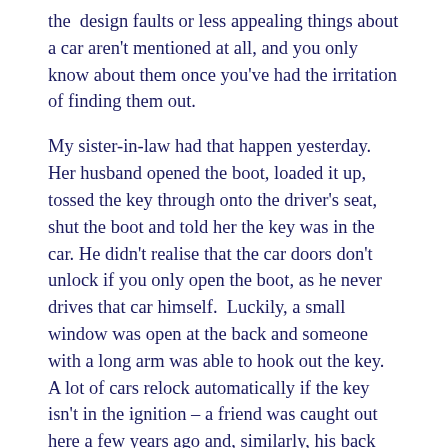the design faults or less appealing things about a car aren't mentioned at all, and you only know about them once you've had the irritation of finding them out.
My sister-in-law had that happen yesterday.  Her husband opened the boot, loaded it up, tossed the key through onto the driver's seat, shut the boot and told her the key was in the car. He didn't realise that the car doors don't unlock if you only open the boot, as he never drives that car himself.  Luckily, a small window was open at the back and someone with a long arm was able to hook out the key.  A lot of cars relock automatically if the key isn't in the ignition – a friend was caught out here a few years ago and, similarly, his back small window was open and we were able to feed in a little grandson.  But, if that were mentioned at all in the publicity, it would be as a Good Thing, not the damn nuisance it can be.  You might well get out of the car and not want it to lock because someone else was going to get in, or fetch something from it...